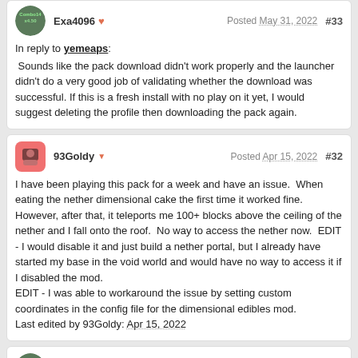In reply to yemeaps: Sounds like the pack download didn't work properly and the launcher didn't do a very good job of validating whether the download was successful. If this is a fresh install with no play on it yet, I would suggest deleting the profile then downloading the pack again.
93Goldy  Posted Apr 15, 2022  #32
I have been playing this pack for a week and have an issue.  When eating the nether dimensional cake the first time it worked fine.  However, after that, it teleports me 100+ blocks above the ceiling of the nether and I fall onto the roof.  No way to access the nether now.  EDIT - I would disable it and just build a nether portal, but I already have started my base in the void world and would have no way to access it if I disabled the mod. EDIT - I was able to workaround the issue by setting custom coordinates in the config file for the dimensional edibles mod. Last edited by 93Goldy: Apr 15, 2022
Exa4096  Posted Apr 15, 2022  #33